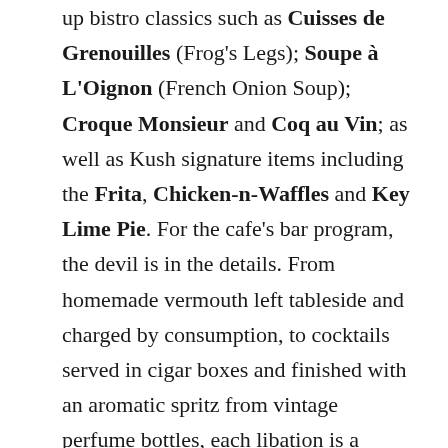up bistro classics such as Cuisses de Grenouilles (Frog's Legs); Soupe à L'Oignon (French Onion Soup); Croque Monsieur and Coq au Vin; as well as Kush signature items including the Frita, Chicken-n-Waffles and Key Lime Pie. For the cafe's bar program, the devil is in the details. From homemade vermouth left tableside and charged by consumption, to cocktails served in cigar boxes and finished with an aromatic spritz from vintage perfume bottles, each libation is a marvel of creativity. In addition to the restaurant's eight signature cocktails, a collection of fine wines from France and beyond are available along with a selection of local signature brews like their very own Kaptain Kush made by Tank Brewing Co. Café Kush is located at 7700 Biscayne Blvd in